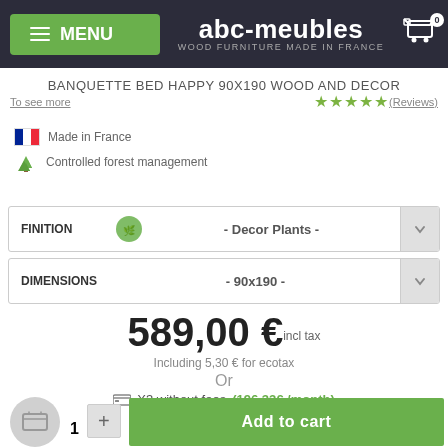abc-meubles — WOOD FURNITURE MADE IN FRANCE
BANQUETTE BED HAPPY 90X190 WOOD AND DECOR
To see more  ★★★★★ (Reviews)
Made in France
Controlled forest management
FINITION — Decor Plants
DIMENSIONS — 90x190
589,00 € incl tax
Including 5,30 € for ecotax
Or
X3 without fees (196.33€ /month)
1  +  Add to cart